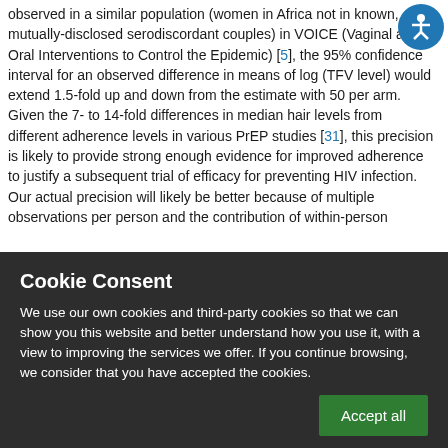observed in a similar population (women in Africa not in known, mutually-disclosed serodiscordant couples) in VOICE (Vaginal and Oral Interventions to Control the Epidemic) [5], the 95% confidence interval for an observed difference in means of log (TFV level) would extend 1.5-fold up and down from the estimate with 50 per arm. Given the 7- to 14-fold differences in median hair levels from different adherence levels in various PrEP studies [31], this precision is likely to provide strong enough evidence for improved adherence to justify a subsequent trial of efficacy for preventing HIV infection. Our actual precision will likely be better because of multiple observations per person and the contribution of within-person
[Figure (other): Accessibility icon - circular blue button with wheelchair/person symbol]
Cookie Consent
We use our own cookies and third-party cookies so that we can show you this website and better understand how you use it, with a view to improving the services we offer. If you continue browsing, we consider that you have accepted the cookies.